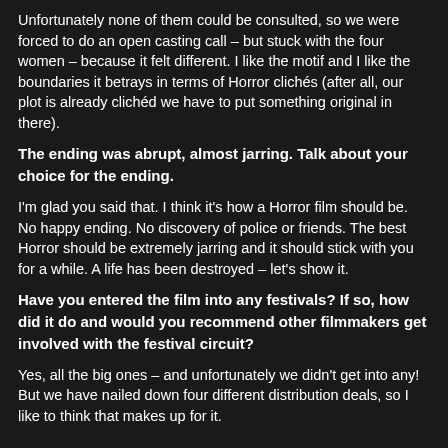Unfortunately none of them could be consulted, so we were forced to do an open casting call – but stuck with the four women – because it felt different. I like the motif and I like the boundaries it betrays in terms of Horror clichés (after all, our plot is already clichéd we have to put something original in there).
The ending was abrupt, almost jarring. Talk about your choice for the ending.
I'm glad you said that. I think it's how a Horror film should be. No happy ending. No discovery of police or friends. The best Horror should be extremely jarring and it should stick with you for a while. A life has been destroyed – let's show it.
Have you entered the film into any festivals? If so, how did it do and would you recommend other filmmakers get involved with the festival circuit?
Yes, all the big ones – and unfortunately we didn't get into any! But we have nailed down four different distribution deals, so I like to think that makes up for it.